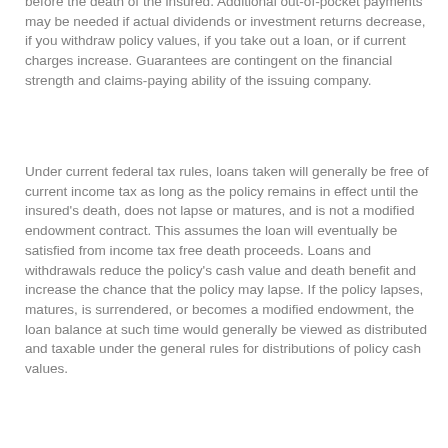before the death of the insured. Additional out-of-pocket payments may be needed if actual dividends or investment returns decrease, if you withdraw policy values, if you take out a loan, or if current charges increase. Guarantees are contingent on the financial strength and claims-paying ability of the issuing company.
Under current federal tax rules, loans taken will generally be free of current income tax as long as the policy remains in effect until the insured's death, does not lapse or matures, and is not a modified endowment contract. This assumes the loan will eventually be satisfied from income tax free death proceeds. Loans and withdrawals reduce the policy's cash value and death benefit and increase the chance that the policy may lapse. If the policy lapses, matures, is surrendered, or becomes a modified endowment, the loan balance at such time would generally be viewed as distributed and taxable under the general rules for distributions of policy cash values.